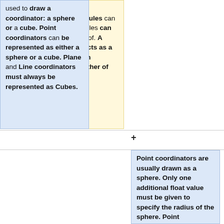be used to represent a compartment that molecules can reside in and that molecules can translocate into and out of. A planar coordinator also acts as a barrier that molecules can translocate across. In either of these cases, the line
used to draw a coordinator: a sphere or a cube. Point coordinators can be represented as either a sphere or a cube. Plane and Line coordinators must always be represented as Cubes.
Point coordinators are usually drawn as a sphere. Only one additional float value must be given to specify the radius of the sphere. Point coordinators may optionally be drawn as a Cube so they are more easily distinguished from molecules. The point